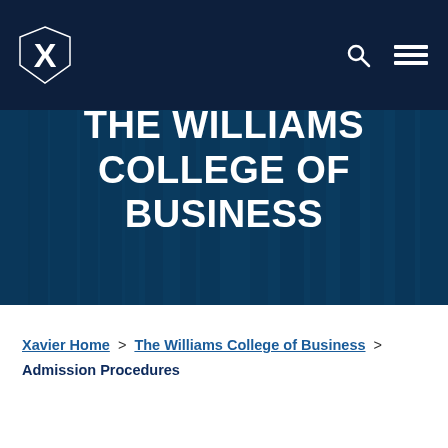Xavier University - The Williams College of Business navigation bar with logo and menu icons
THE WILLIAMS COLLEGE OF BUSINESS
Xavier Home > The Williams College of Business > Admission Procedures